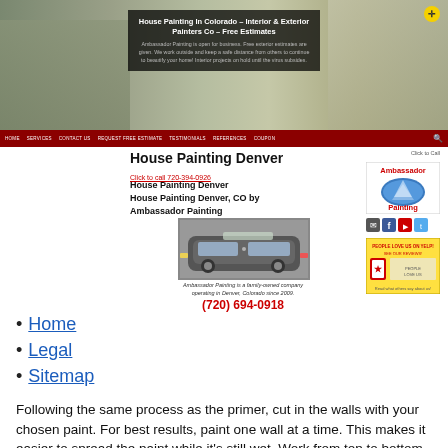[Figure (photo): Hero banner with house/building photo and overlaid text box showing website title and description. Dark overlay box with white text.]
HOME  SERVICES  CONTACT US  REQUEST FREE ESTIMATE  TESTIMONIALS  REFERENCES  COUPON
House Painting Denver
Click to call 720-394-0926
House Painting Denver
House Painting Denver, CO by Ambassador Painting
[Figure (photo): Ambassador Painting company vehicle (SUV) with company branding]
Ambassador Painting is a family-owned company operating in Denver, Colorado since 2009.
(720) 694-0918
[Figure (logo): Ambassador Painting logo with red text and mountain/oval graphic]
[Figure (other): Social media icons row: email, Facebook, YouTube, Twitter]
[Figure (other): Angie's List award badge/box in yellow]
Click to Call
Home
Legal
Sitemap
Following the same process as the primer, cut in the walls with your chosen paint. For best results, paint one wall at a time. This makes it easier to spread the paint while it's still wet. Work from top to bottom, rolling the paint in V or W